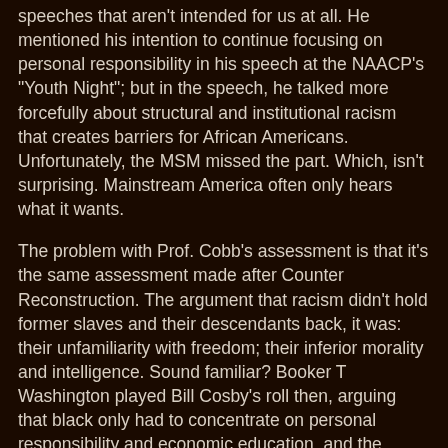speeches that aren't intended for us at all. He mentioned his intention to continue focusing on personal responsibility in his speech at the NAACP's "Youth Night"; but in the speech, he talked more forcefully about structural and institutional racism that creates barriers for African Americans. Unfortunately, the MSM missed the part. Which, isn't surprising. Mainstream America often only hears what it wants.
The problem with Prof. Cobb's assessment is that it's the same assessment made after Counter Reconstruction. The argument that racism didn't hold former slaves and their descendants back, it was: their unfamiliarity with freedom; their inferior morality and intelligence. Sound familiar? Booker T Washington played Bill Cosby's roll then, arguing that black only had to concentrate on personal responsibility and economic education, and the future would be theirs. It was a lie then. It's a lie now. White America has been saying for over a century that racism isn't as bad as African Americans make it out to be. When are we finally gonna stop acting like that may be true. Since when did anyone trust those privileged by an unjust system to really call the system